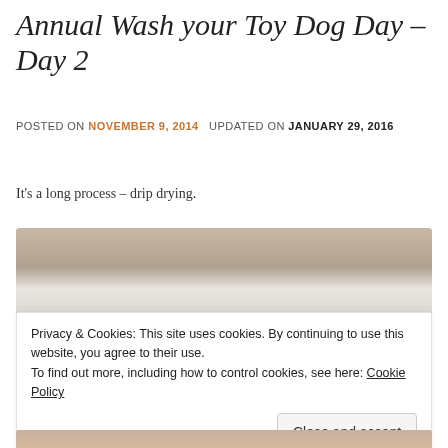Annual Wash your Toy Dog Day – Day 2
POSTED ON NOVEMBER 9, 2014   UPDATED ON JANUARY 29, 2016
It's a long process – drip drying.
[Figure (photo): A photo showing a beige/cream surface, partially visible, likely indoors — top portion of a toy dog wash scene.]
Privacy & Cookies: This site uses cookies. By continuing to use this website, you agree to their use.
To find out more, including how to control cookies, see here: Cookie Policy
Close and accept